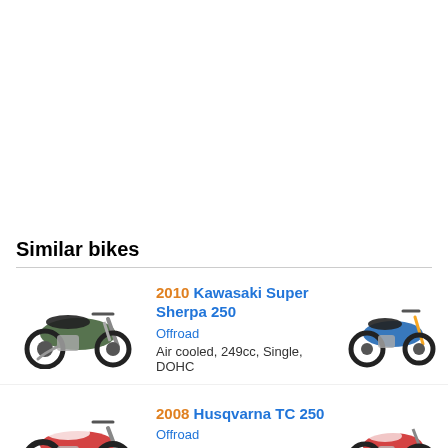Similar bikes
[Figure (photo): 2010 Kawasaki Super Sherpa 250 motorcycle, side view, green/black color]
2010 Kawasaki Super Sherpa 250
Offroad
Air cooled, 249cc, Single, DOHC
[Figure (photo): Blue offroad motorcycle, side view]
[Figure (photo): 2008 Husqvarna TC 250 motorcycle, side view, red/white color]
2008 Husqvarna TC 250
Offroad
Water cooled, 249cc, Single, DOHC
[Figure (photo): Red offroad motorcycle, side view, partially visible]
2008 Kawasaki KX 250 F